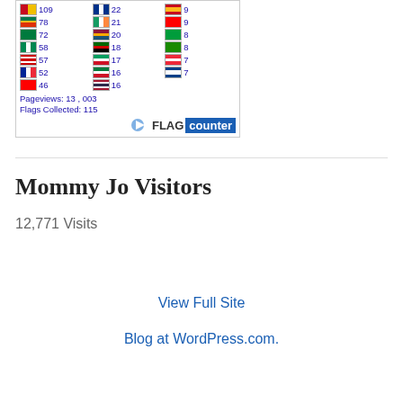[Figure (other): Flag Counter widget showing country flags with visitor counts. Rows include: ZA 78, SA 72, NG 58, MY 57, FR 52, CH-red 46 in first column; IE 21, LK 20, KE 18, unknown 17, KW 16, TH 16 in second column; ES 9, CH 9, BR 8, ZM 8, AT 7, BZ 7 in third column. Pageviews: 13,003. Flags Collected: 115. FLAG counter branding at bottom.]
Mommy Jo Visitors
12,771 Visits
View Full Site
Blog at WordPress.com.